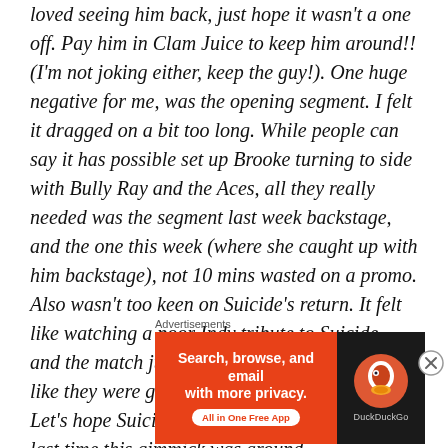loved seeing him back, just hope it wasn't a one off. Pay him in Clam Juice to keep him around!! (I'm not joking either, keep the guy!). One huge negative for me, was the opening segment. I felt it dragged on a bit too long. While people can say it has possible set up Brooke turning to side with Bully Ray and the Aces, all they really needed was the segment last week backstage, and the one this week (where she caught up with him backstage), not 10 mins wasted on a promo. Also wasn't too keen on Suicide's return. It felt like watching a poor Indy tribute to Suicide, and the match just wasn't enjoyable at all. Felt like they were going slow to get the spots in. Let's hope Suicide's run ends a lot quicker than last time this gimmick was around.
Advertisements
[Figure (other): DuckDuckGo advertisement banner: orange background on left with text 'Search, browse, and email with more privacy.' and 'All in One Free App' badge; dark background on right with DuckDuckGo duck logo and DuckDuckGo text.]